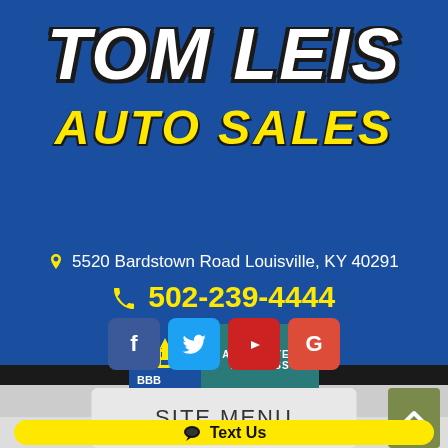TOM LEIS AUTO SALES
[Figure (logo): BBB Accredited Business badge with blue and teal colors]
5520 Bardstown Road Louisville, KY 40291
502-239-4444
[Figure (infographic): Social media icons: Facebook, Twitter, YouTube, Google]
SITE MENU
Text Us